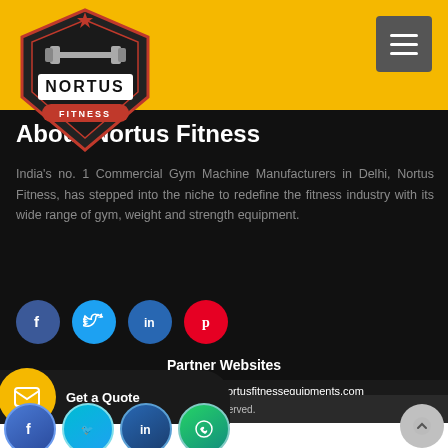Nortus Fitness
About Nortus Fitness
India's no. 1 Commercial Gym Machine Manufacturers in Delhi, Nortus Fitness, has stepped into the niche to redefine the fitness industry with its wide range of gym, weight and strength equipment.
[Figure (infographic): Social media icons: Facebook (blue circle), Twitter (light blue circle), LinkedIn (blue circle), Pinterest (red circle)]
Partner Websites
www.nortusgym.com | www.nortusfitnessequipments.com
[Figure (infographic): Get a Quote button with yellow circle envelope icon]
Nortus Fitness | All Rights Reserved.
[Figure (infographic): Bottom social media icons: Facebook, Twitter, LinkedIn, WhatsApp and a scroll-to-top button]